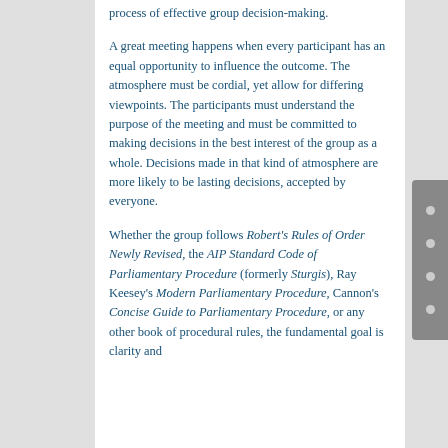process of effective group decision-making.
A great meeting happens when every participant has an equal opportunity to influence the outcome. The atmosphere must be cordial, yet allow for differing viewpoints. The participants must understand the purpose of the meeting and must be committed to making decisions in the best interest of the group as a whole. Decisions made in that kind of atmosphere are more likely to be lasting decisions, accepted by everyone.
Whether the group follows Robert's Rules of Order Newly Revised, the AIP Standard Code of Parliamentary Procedure (formerly Sturgis), Ray Keesey's Modern Parliamentary Procedure, Cannon's Concise Guide to Parliamentary Procedure, or any other book of procedural rules, the fundamental goal is clarity and